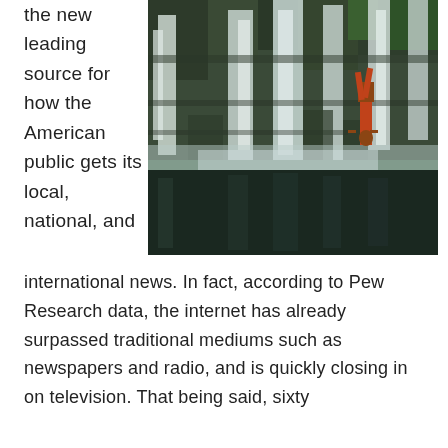the new leading source for how the American public gets its local, national, and
[Figure (photo): Person doing a handstand near a large waterfall cascading over dark rock formations into a dark pool below. The person is wearing red shorts.]
international news. In fact, according to Pew Research data, the internet has already surpassed traditional mediums such as newspapers and radio, and is quickly closing in on television. That being said, sixty